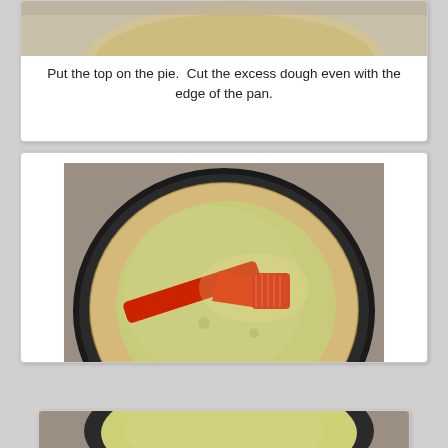[Figure (photo): Top portion of a pie in a pan, partially visible at top of card 1]
Put the top on the pie.  Cut the excess dough even with the edge of the pan.
[Figure (photo): A round pie in a dark pan with a red silicone pastry brush applying egg wash to the top crust, on a granite countertop]
Roll the dough over to seal the edges.  Cut some holes for steam to escape.  Brush the top with egg wash.  The egg wash sealed up my holes again which caused the top to pouf up, so go ahead and put the tip of your knife back in the holes.
[Figure (photo): Partially visible photo of a pie in a pan at bottom of page]